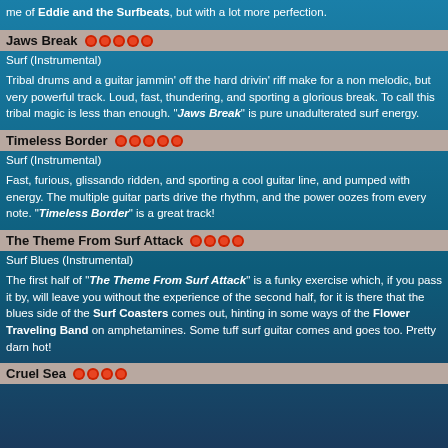me of Eddie and the Surfbeats, but with a lot more perfection.
Jaws Break ●●●●●
Surf (Instrumental)
Tribal drums and a guitar jammin' off the hard drivin' riff make for a non melodic, but very powerful track. Loud, fast, thundering, and sporting a glorious break. To call this tribal magic is less than enough. "Jaws Break" is pure unadulterated surf energy.
Timeless Border ●●●●●
Surf (Instrumental)
Fast, furious, glissando ridden, and sporting a cool guitar line, and pumped with energy. The multiple guitar parts drive the rhythm, and the power oozes from every note. "Timeless Border" is a great track!
The Theme From Surf Attack ●●●●
Surf Blues (Instrumental)
The first half of "The Theme From Surf Attack" is a funky exercise which, if you pass it by, will leave you without the experience of the second half, for it is there that the blues side of the Surf Coasters comes out, hinting in some ways of the Flower Traveling Band on amphetamines. Some tuff surf guitar comes and goes too. Pretty darn hot!
Cruel Sea ●●●●